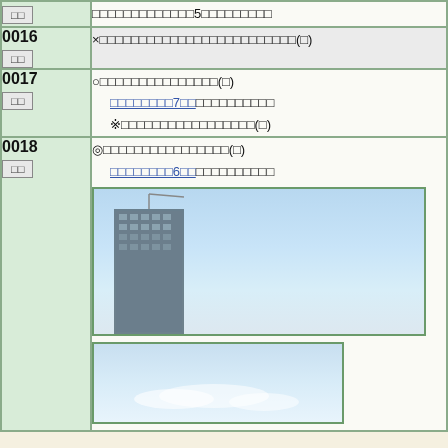| ID | Content |
| --- | --- |
| □□ | □□□□□□□□□□□□5□□□□□□□□□ |
| 0016
□□ | ×□□□□□□□□□□□□□□□□□□□□□□□□□(□) |
| 0017
□□ | ○□□□□□□□□□□□□□□□(□)
□□□□□□□□7□□□□□□□□□□□
※□□□□□□□□□□□□□□□□□(□) |
| 0018
□□ | ◎□□□□□□□□□□□□□□□□(□)
□□□□□□□□6□□□□□□□□□□
[building photo]
[sky photo] |